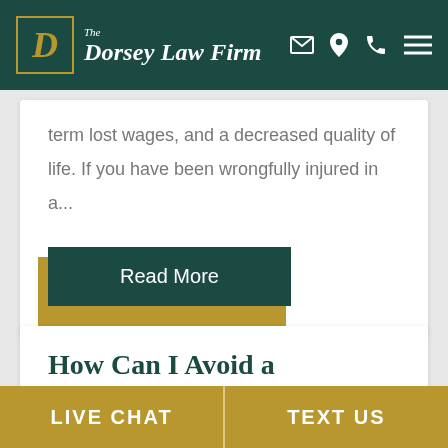The Dorsey Law Firm
term lost wages, and a decreased quality of life. If you have been wrongfully injured in a...
Read More
How Can I Avoid a
LIVE CHAT | TEXT US